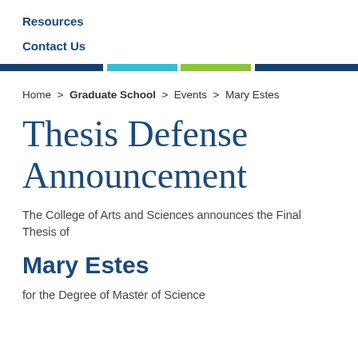Resources
Contact Us
Home > Graduate School > Events > Mary Estes
Thesis Defense Announcement
The College of Arts and Sciences announces the Final Thesis of
Mary Estes
for the Degree of Master of Science